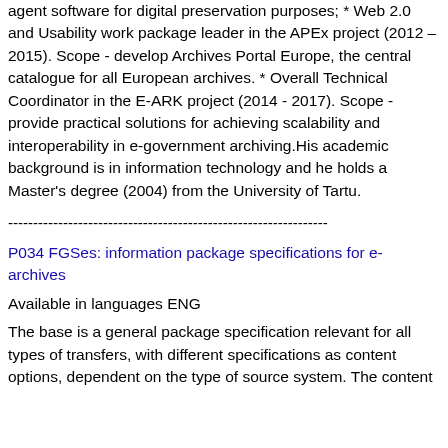agent software for digital preservation purposes; * Web 2.0 and Usability work package leader in the APEx project (2012 – 2015). Scope - develop Archives Portal Europe, the central catalogue for all European archives. * Overall Technical Coordinator in the E-ARK project (2014 - 2017). Scope - provide practical solutions for achieving scalability and interoperability in e-government archiving.His academic background is in information technology and he holds a Master's degree (2004) from the University of Tartu.
----------------------------------------------------------------
P034 FGSes: information package specifications for e-archives
Available in languages ENG
The base is a general package specification relevant for all types of transfers, with different specifications as content options, dependent on the type of source system. The content